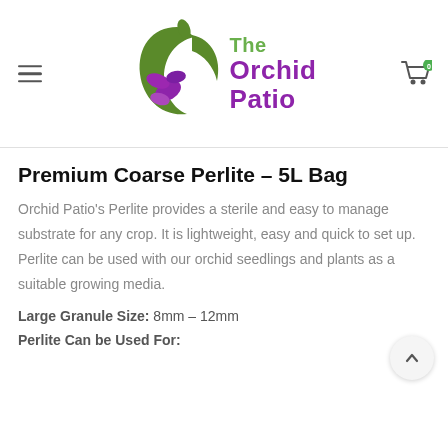[Figure (logo): The Orchid Patio logo: a green crescent arc shape with a purple orchid flower, alongside the text 'The Orchid Patio' in green and purple]
Premium Coarse Perlite – 5L Bag
Orchid Patio's Perlite provides a sterile and easy to manage substrate for any crop. It is lightweight, easy and quick to set up. Perlite can be used with our orchid seedlings and plants as a suitable growing media.
Large Granule Size: 8mm – 12mm
Perlite Can be Used For: